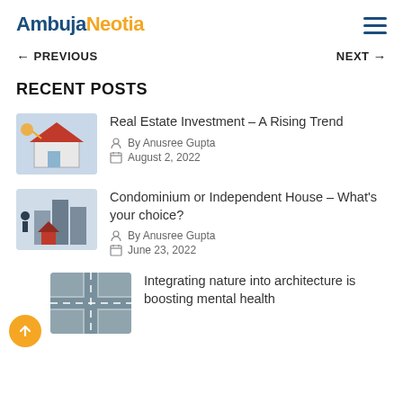AmbujaNeotia
RECENT POSTS
Real Estate Investment – A Rising Trend
By Anusree Gupta
August 2, 2022
Condominium or Independent House – What's your choice?
By Anusree Gupta
June 23, 2022
Integrating nature into architecture is boosting mental health